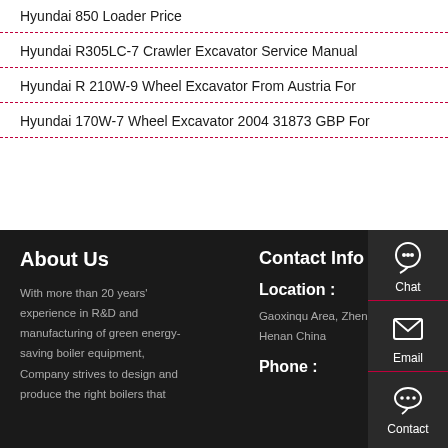Hyundai 850 Loader Price
Hyundai R305LC-7 Crawler Excavator Service Manual
Hyundai R 210W-9 Wheel Excavator From Austria For
Hyundai 170W-7 Wheel Excavator 2004 31873 GBP For
About Us
With more than 20 years' experience in R&D and manufacturing of green energy-saving boiler equipment, Company strives to design and produce the right boilers that
Contact Info
Location :
Gaoxinqu Area, Zhengzhou Henan China
Phone :